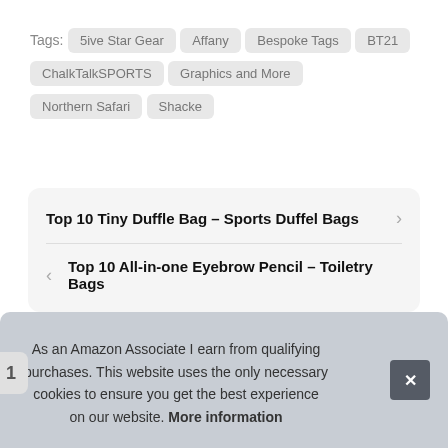Tags: 5ive Star Gear  Affany  Bespoke Tags  BT21  ChalkTalkSPORTS  Graphics and More  Northern Safari  Shacke
Top 10 Tiny Duffle Bag – Sports Duffel Bags
Top 10 All-in-one Eyebrow Pencil – Toiletry Bags
As an Amazon Associate I earn from qualifying purchases. This website uses the only necessary cookies to ensure you get the best experience on our website. More information